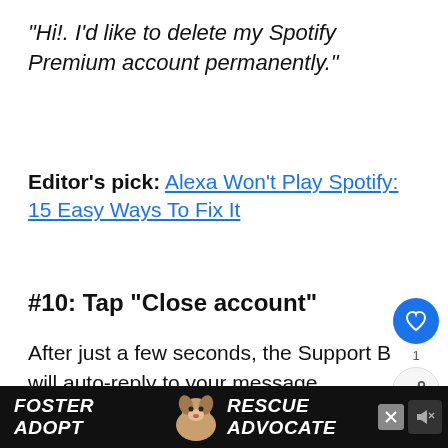“Hi!. I’d like to delete my Spotify Premium account permanently.”
Editor’s pick: Alexa Won’t Play Spotify: 15 Easy Ways To Fix It
#10: Tap “Close account”
After just a few seconds, the Support B will auto-reply to your message.
It’ll confirm your request by rephrasing
[Figure (infographic): Ad banner: FOSTER ADOPT (dog image) RESCUE ADVOCATE with close button and mute icon on dark background]